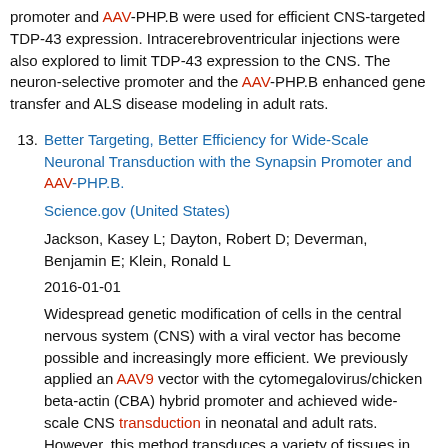promoter and AAV-PHP.B were used for efficient CNS-targeted TDP-43 expression. Intracerebroventricular injections were also explored to limit TDP-43 expression to the CNS. The neuron-selective promoter and the AAV-PHP.B enhanced gene transfer and ALS disease modeling in adult rats.
13. Better Targeting, Better Efficiency for Wide-Scale Neuronal Transduction with the Synapsin Promoter and AAV-PHP.B. Science.gov (United States) Jackson, Kasey L; Dayton, Robert D; Deverman, Benjamin E; Klein, Ronald L 2016-01-01 Widespread genetic modification of cells in the central nervous system (CNS) with a viral vector has become possible and increasingly more efficient. We previously applied an AAV9 vector with the cytomegalovirus/chicken beta-actin (CBA) hybrid promoter and achieved wide-scale CNS transduction in neonatal and adult rats. However, this method transduces a variety of tissues in addition to the CNS. Thus we studied intravenous AAV9 gene transfer with a synapsin promoter to